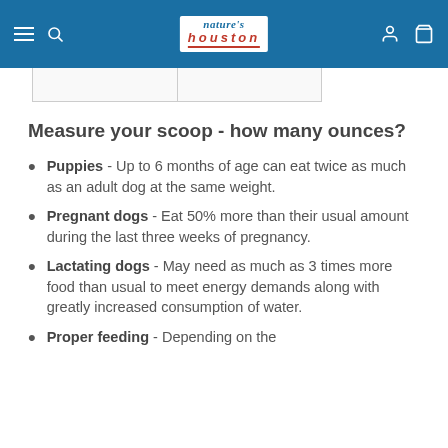nature's houston (navigation bar)
Measure your scoop - how many ounces?
Puppies - Up to 6 months of age can eat twice as much as an adult dog at the same weight.
Pregnant dogs - Eat 50% more than their usual amount during the last three weeks of pregnancy.
Lactating dogs - May need as much as 3 times more food than usual to meet energy demands along with greatly increased consumption of water.
Proper feeding - Depending on the